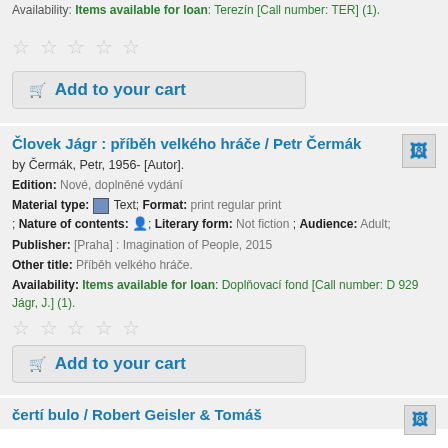Availability: Items available for loan: Terezín [Call number: TER] (1).
[Figure (other): Five empty star rating icons]
Add to your cart
Člověk Jágr : příběh velkého hráče / Petr Čermák
by Čermák, Petr, 1956- [Autor].
Edition: Nové, doplněné vydání
Material type: Text; Format: print regular print ; Nature of contents: ; Literary form: Not fiction ; Audience: Adult;
Publisher: [Praha] : Imagination of People, 2015
Other title: Příběh velkého hráče.
Availability: Items available for loan: Doplňovací fond [Call number: D 929 Jágr, J.] (1).
[Figure (other): Five empty star rating icons]
Add to your cart
čertí bulo / Robert Geisler & Tomáš